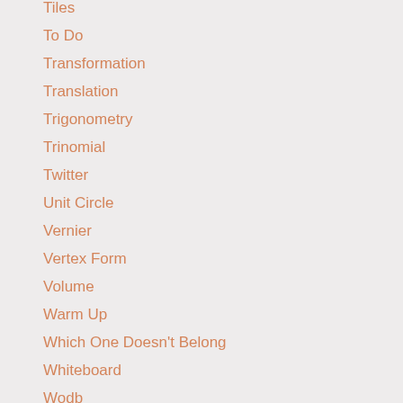Tiles
To Do
Transformation
Translation
Trigonometry
Trinomial
Twitter
Unit Circle
Vernier
Vertex Form
Volume
Warm Up
Which One Doesn't Belong
Whiteboard
Wodb
Y=mx+b
Archives
March 2019